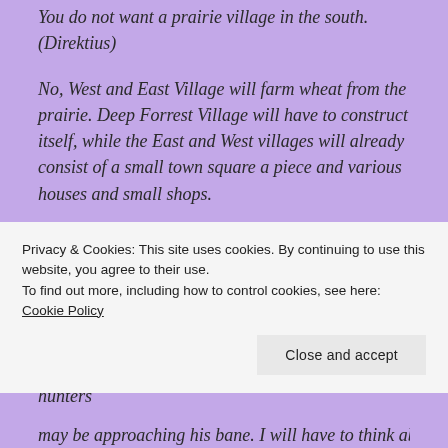You do not want a prairie village in the south. (Direktius)
No, West and East Village will farm wheat from the prairie. Deep Forrest Village will have to construct itself, while the East and West villages will already consist of a small town square a piece and various houses and small shops.
Shops? (Azul)
There should be at least three blacksmiths. One for each village and one for the big castle. They can train others as needed.
There will also be various tailors and skilled hunters
Privacy & Cookies: This site uses cookies. By continuing to use this website, you agree to their use.
To find out more, including how to control cookies, see here: Cookie Policy
may be approaching his bane. I will have to think about that for